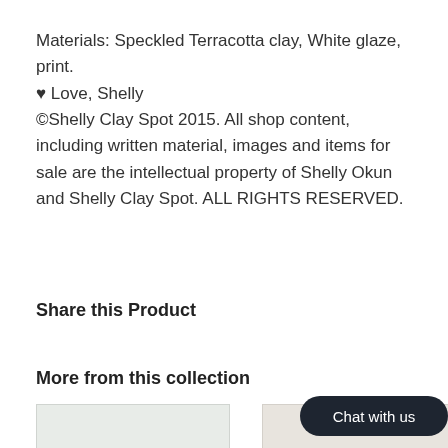Materials: Speckled Terracotta clay, White glaze, print.
♥ Love, Shelly
©Shelly Clay Spot 2015. All shop content, including written material, images and items for sale are the intellectual property of Shelly Okun and Shelly Clay Spot. ALL RIGHTS RESERVED.
Share this Product
More from this collection
[Figure (photo): Left product image thumbnail]
[Figure (photo): Right product image thumbnail with Chat with us button overlay]
Chat with us